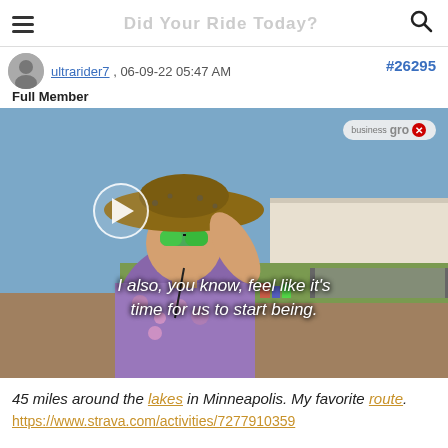Did Your Ride Today?
ultrarider7 , 06-09-22 05:47 AM
Full Member
#26295
[Figure (screenshot): Video thumbnail showing a woman wearing a wide-brim hat and sunglasses at an outdoor festival with tents. A play button circle is visible. Subtitle reads: 'I also, you know, feel like it's time for us to start being.' An ad badge is in the top right corner.]
45 miles around the lakes in Minneapolis. My favorite route. https://www.strava.com/activities/7277910359